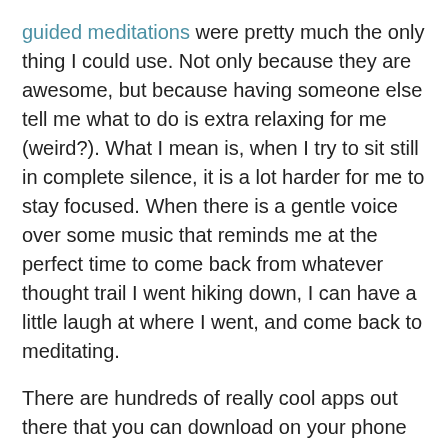guided meditations were pretty much the only thing I could use. Not only because they are awesome, but because having someone else tell me what to do is extra relaxing for me (weird?). What I mean is, when I try to sit still in complete silence, it is a lot harder for me to stay focused. When there is a gentle voice over some music that reminds me at the perfect time to come back from whatever thought trail I went hiking down, I can have a little laugh at where I went, and come back to meditating.
There are hundreds of really cool apps out there that you can download on your phone to help you meditate as well! Check out:
Insight Timer
Headspace
Calm
The Mindfulness App
MindBody
Smiling Mind